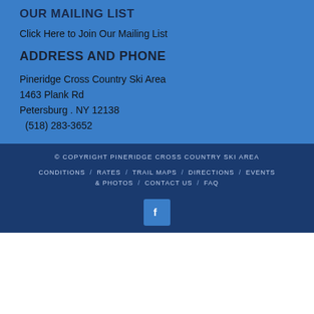OUR MAILING LIST
Click Here to Join Our Mailing List
ADDRESS AND PHONE
Pineridge Cross Country Ski Area
1463 Plank Rd
Petersburg . NY 12138
(518) 283-3652
© COPYRIGHT PINERIDGE CROSS COUNTRY SKI AREA  CONDITIONS / RATES / TRAIL MAPS / DIRECTIONS / EVENTS & PHOTOS / CONTACT US / FAQ